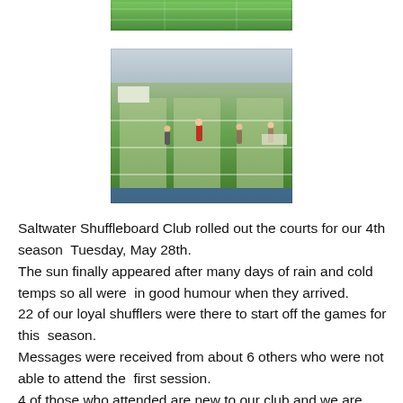[Figure (photo): Top partial photo of green shuffleboard courts viewed from above]
[Figure (photo): Indoor shuffleboard facility with green courts and players in action]
Saltwater Shuffleboard Club rolled out the courts for our 4th season  Tuesday, May 28th.
The sun finally appeared after many days of rain and cold temps so all were  in good humour when they arrived.
22 of our loyal shufflers were there to start off the games for this  season.
Messages were received from about 6 others who were not able to attend the  first session.
4 of those who attended are new to our club and we are